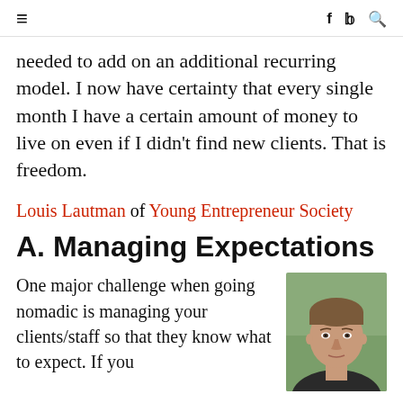≡  f  𝐲  🔍
needed to add on an additional recurring model. I now have certainty that every single month I have a certain amount of money to live on even if I didn't find new clients. That is freedom.
Louis Lautman of Young Entrepreneur Society
A. Managing Expectations
One major challenge when going nomadic is managing your clients/staff so that they know what to expect. If you
[Figure (photo): Portrait photo of a young man with short hair, looking at camera, with blurred green background]